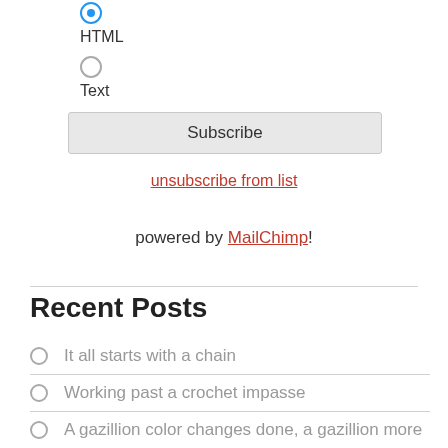HTML
Text
Subscribe
unsubscribe from list
powered by MailChimp!
Recent Posts
It all starts with a chain
Working past a crochet impasse
A gazillion color changes done, a gazillion more